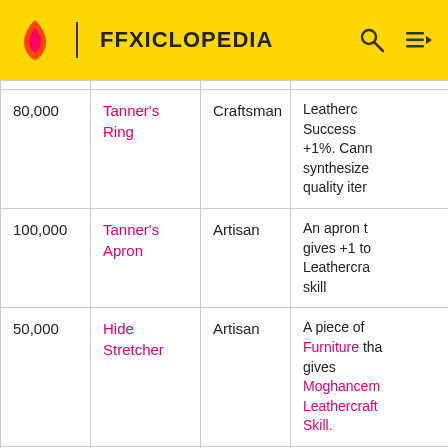FFXICLOPEDIA
| Price | Item | Rank | Description |
| --- | --- | --- | --- |
| 80,000 | Tanner's Ring | Craftsman | Leathercr... Success +1%. Cann synthesize quality iter |
| 100,000 | Tanner's Apron | Artisan | An apron t gives +1 to Leathercra skill |
| 50,000 | Hide Stretcher | Artisan | A piece of Furniture tha gives Moghancem Leathercraft Skill. |
| 45,000 | Tanner... | Veteran | The famili... |